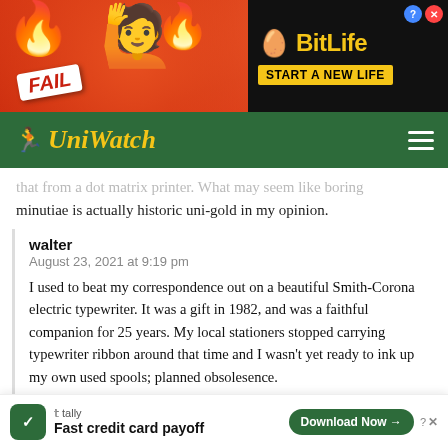[Figure (other): BitLife advertisement banner with red flames background, cartoon girl, FAIL badge, and 'BitLife START A NEW LIFE' text on black panel]
[Figure (logo): UniWatch website navigation bar with yellow italic logo text and hamburger menu on dark green background]
that from a dot matrix printer. What may seem like boring minutiae is actually historic uni-gold in my opinion.
walter
August 23, 2021 at 9:19 pm

I used to beat my correspondence out on a beautiful Smith-Corona electric typewriter. It was a gift in 1982, and was a faithful companion for 25 years. My local stationers stopped carrying typewriter ribbon around that time and I wasn't yet ready to ink up my own used spools; planned obsolesence.
Tenz
August 23, 2021 at 7:59 pm

I absolu... iforms should... d have been v... t the
[Figure (other): Tally 'Fast credit card payoff' advertisement banner at bottom with green logo, tagline, and 'Download Now' button]